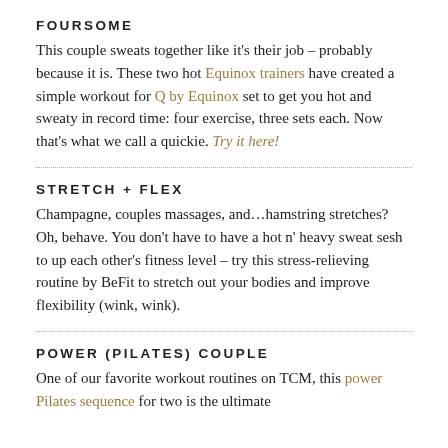FOURSOME
This couple sweats together like it's their job – probably because it is. These two hot Equinox trainers have created a simple workout for Q by Equinox set to get you hot and sweaty in record time: four exercise, three sets each. Now that's what we call a quickie. Try it here!
STRETCH + FLEX
Champagne, couples massages, and…hamstring stretches? Oh, behave. You don't have to have a hot n' heavy sweat sesh to up each other's fitness level – try this stress-relieving routine by BeFit to stretch out your bodies and improve flexibility (wink, wink).
POWER (PILATES) COUPLE
One of our favorite workout routines on TCM, this power Pilates sequence for two is the ultimate